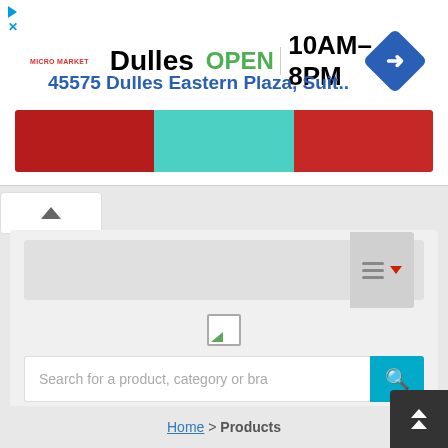[Figure (screenshot): Advertisement banner for Micro Market store at Dulles location. Shows store name 'Dulles', green 'OPEN' text, hours '10AM–8PM', address '45575 Dulles Eastern Plaza, Suit..', a blue navigation/directions icon, and a colored image strip with red and teal sections.]
[Figure (screenshot): Website UI showing navigation bar with hamburger menu and dropdown arrow, broken image placeholder, search bar with placeholder text 'Search for a product, category or bra' and a teal search button, and a categories panel with sidebar hamburger icon.]
Home > Products